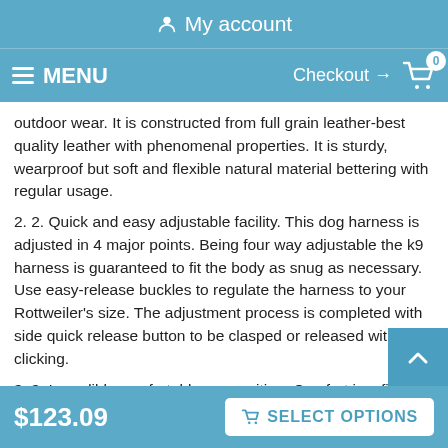My account
MENU   Checkout → 0
outdoor wear. It is constructed from full grain leather-best quality leather with phenomenal properties. It is sturdy, wearproof but soft and flexible natural material bettering with regular usage.
2. 2. Quick and easy adjustable facility. This dog harness is adjusted in 4 major points. Being four way adjustable the k9 harness is guaranteed to fit the body as snug as necessary. Use easy-release buckles to regulate the harness to your Rottweiler's size. The adjustment process is completed with side quick release button to be clasped or released with one clicking.
3. 3. Incredibly comfortable ammunition. Comfort is a first th... for us to think of when creating dog wear. The tactical dog
$123.09   SELECT OPTIONS